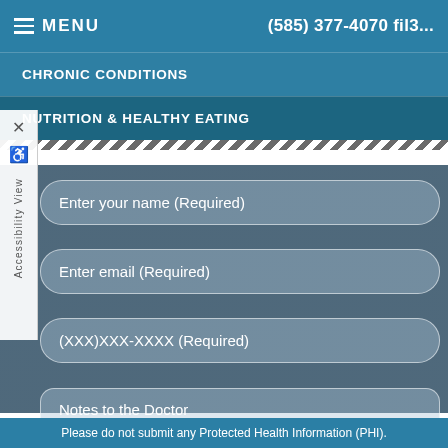MENU  (585) 377-4070  fil3...
CHRONIC CONDITIONS
NUTRITION & HEALTHY EATING
Enter your name (Required)
Enter email (Required)
(XXX)XXX-XXXX (Required)
Notes to the Doctor
Please do not submit any Protected Health Information (PHI).